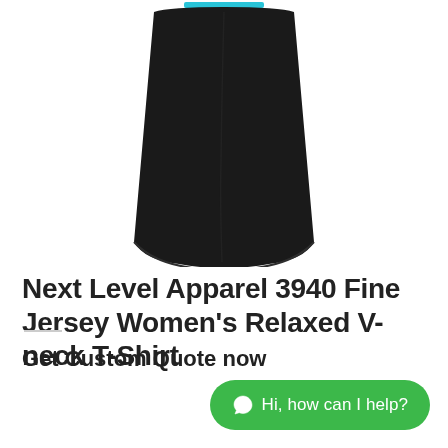[Figure (photo): Bottom portion of a black women's relaxed V-neck t-shirt displayed on a white background, showing the hemline and lower body of the garment.]
Next Level Apparel 3940 Fine Jersey Women's Relaxed V-neck T-Shirt
Get Custom Quote now
Hi, how can I help?